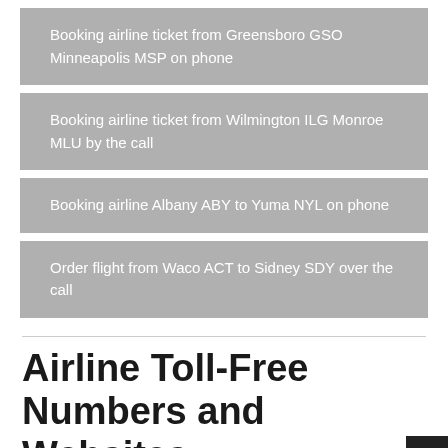Booking airline ticket from Greensboro GSO Minneapolis MSP on phone
Booking airline ticket from Wilmington ILG Monroe MLU by the call
Booking airline Albany ABY to Yuma NYL on phone
Order flight from Waco ACT to Sidney SDY over the call
Airline Toll-Free Numbers and Websites.